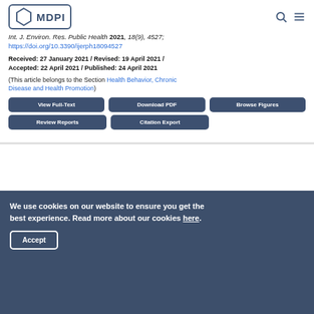MDPI
Int. J. Environ. Res. Public Health 2021, 18(9), 4527; https://doi.org/10.3390/ijerph18094527
Received: 27 January 2021 / Revised: 19 April 2021 / Accepted: 22 April 2021 / Published: 24 April 2021
(This article belongs to the Section Health Behavior, Chronic Disease and Health Promotion)
View Full-Text | Download PDF | Browse Figures | Review Reports | Citation Export
We use cookies on our website to ensure you get the best experience. Read more about our cookies here. Accept